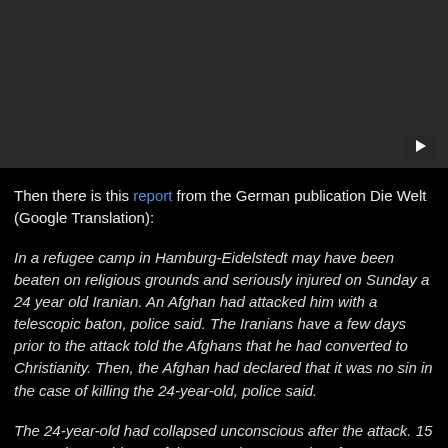[Figure (screenshot): Dark video player placeholder with YouTube play button in bottom-right corner]
Then there is this report from the German publication Die Welt (Google Translation):
In a refugee camp in Hamburg-Eidelstedt may have been beaten on religious grounds and seriously injured on Sunday a 24 year old Iranian. An Afghan had attacked him with a telescopic baton, police said. The Iranians have a few days prior to the attack told the Afghans that he had converted to Christianity. Then, the Afghan had declared that it was no sin in the case of killing the 24-year-old, police said.
The 24-year-old had collapsed unconscious after the attack. 15 to 20 other residents of the reception center in a former hardware store kept the attacker